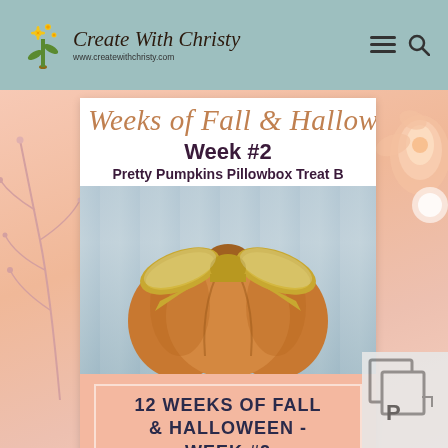[Figure (logo): Create With Christy logo with flower icon and website URL www.createwithchristy.com]
[Figure (screenshot): Website screenshot showing '12 Weeks of Fall & Halloween Week #2 Pretty Pumpkins Pillowbox Treat' blog post header with a pumpkin-shaped box tied with gold glitter ribbon bow, and a pink card below reading '12 WEEKS OF FALL & HALLOWEEN - WEEK #2']